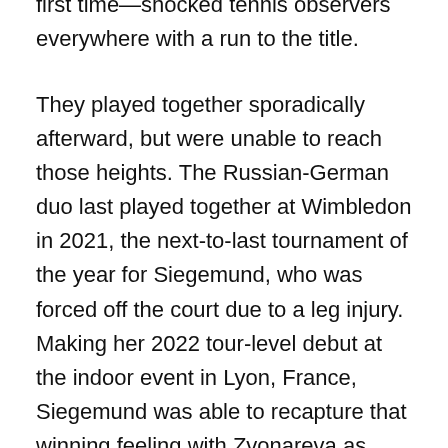first time—shocked tennis observers everywhere with a run to the title.
They played together sporadically afterward, but were unable to reach those heights. The Russian-German duo last played together at Wimbledon in 2021, the next-to-last tournament of the year for Siegemund, who was forced off the court due to a leg injury. Making her 2022 tour-level debut at the indoor event in Lyon, France, Siegemund was able to recapture that winning feeling with Zvonareva as they claimed the top prize. The duo was pushed to the brink in the semifinals, then turned around and posted a thorough win in the championship match against Alicia Barnett and Olivia Nicholls in the final.